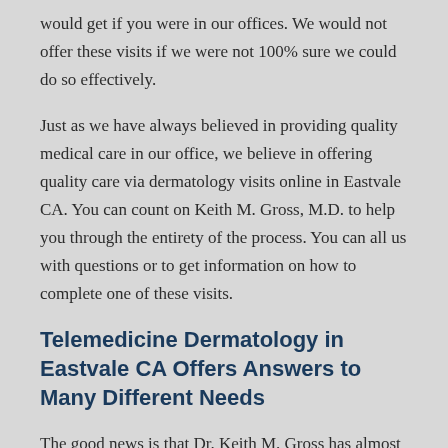would get if you were in our offices. We would not offer these visits if we were not 100% sure we could do so effectively.
Just as we have always believed in providing quality medical care in our office, we believe in offering quality care via dermatology visits online in Eastvale CA. You can count on Keith M. Gross, M.D. to help you through the entirety of the process. You can all us with questions or to get information on how to complete one of these visits.
Telemedicine Dermatology in Eastvale CA Offers Answers to Many Different Needs
The good news is that Dr. Keith M. Gross has almost three decades of experience in private practice. In that time he has worked on countless skin issues including: